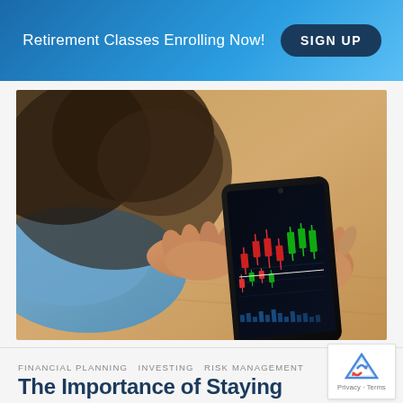Retirement Classes Enrolling Now!  SIGN UP
[Figure (photo): Person holding a smartphone displaying a stock market candlestick chart, viewed from behind and above, hands visible against a wooden desk surface, wearing a light blue shirt]
FINANCIAL PLANNING  INVESTING  RISK MANAGEMENT
The Importance of Staying